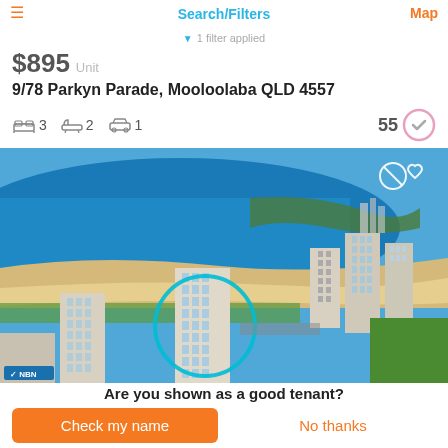Search/Filters
$895  Unit  1 filter applied
9/78 Parkyn Parade, Mooloolaba QLD 4557
3 bedrooms  2 bathrooms  1 car space  Score: 55
[Figure (photo): Aerial photograph of coastal apartment buildings at Mooloolaba QLD with ocean and beach visible in background; one building highlighted with a teal circle overlay; NBN badge in bottom left corner]
Are you shown as a good tenant?
Check my name
No thanks